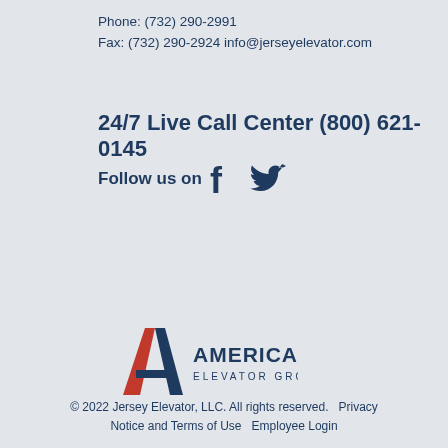Phone: (732) 290-2991
Fax: (732) 290-2924 info@jerseyelevator.com
24/7 Live Call Center (800) 621-0145
Follow us on
[Figure (logo): American Elevator Group logo with red and navy stylized A lettermark]
© 2022 Jersey Elevator, LLC. All rights reserved. Privacy Notice and Terms of Use Employee Login